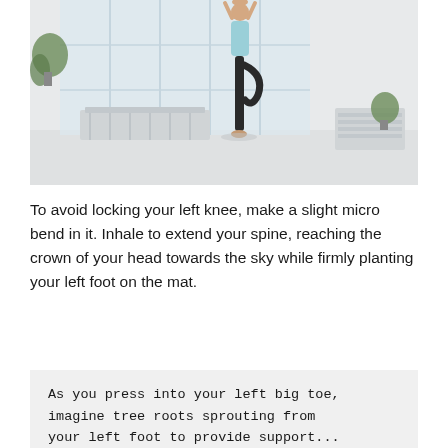[Figure (photo): A woman in a light blue tank top and black leggings performing a yoga tree pose (Vrksasana) in a bright white studio with large windows and benches in the background.]
To avoid locking your left knee, make a slight micro bend in it. Inhale to extend your spine, reaching the crown of your head towards the sky while firmly planting your left foot on the mat.
As you press into your left big toe, imagine tree roots sprouting from your left foot to provide support...